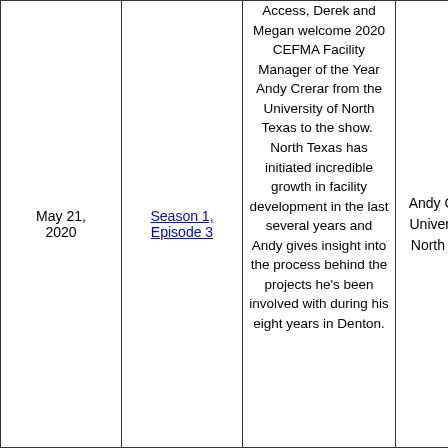| Date | Episode | Description | Guest |
| --- | --- | --- | --- |
| May 21, 2020 | Season 1, Episode 3 | Access, Derek and Megan welcome 2020 CEFMA Facility Manager of the Year Andy Crerar from the University of North Texas to the show.  North Texas has initiated incredible growth in facility development in the last several years and Andy gives insight into the process behind the projects he's been involved with during his eight years in Denton. | Andy Crerar, University of North Texas |